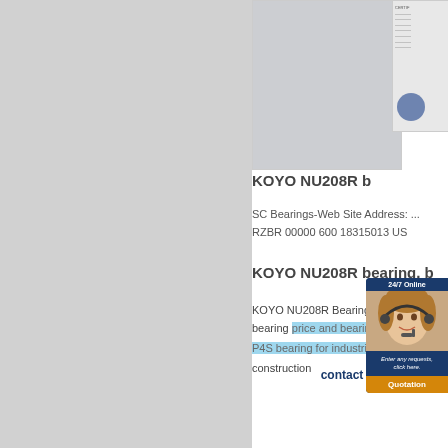[Figure (photo): Product photo area showing KOYO NU208R bearing on a white surface, with a gray background. Certificate image partially visible on right.]
KOYO NU208R b...
SC Bearings-Web Site Address: ...
RZBR 00000 600 18315013 US...
KOYO NU208R bearing, b...
KOYO NU208R Bearing is one...
bearing price and bearing dime...
P4S bearing for industrial mach...
[Figure (screenshot): 24/7 Online chat widget showing a customer service agent photo, message text 'Enter any requests, click here.' and a Quotation button.]